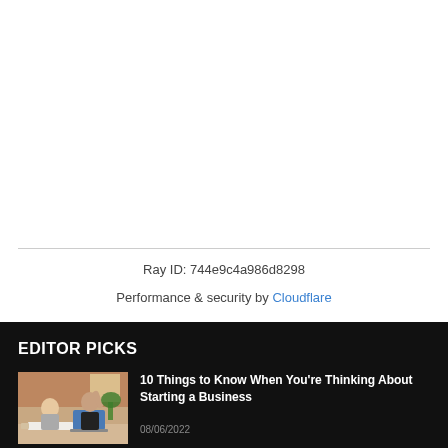Ray ID: 744e9c4a986d8298
Performance & security by Cloudflare
EDITOR PICKS
[Figure (photo): Two business people at a desk shaking hands or high-fiving, with a laptop and papers on the table, brick wall background.]
10 Things to Know When You're Thinking About Starting a Business
08/06/2022